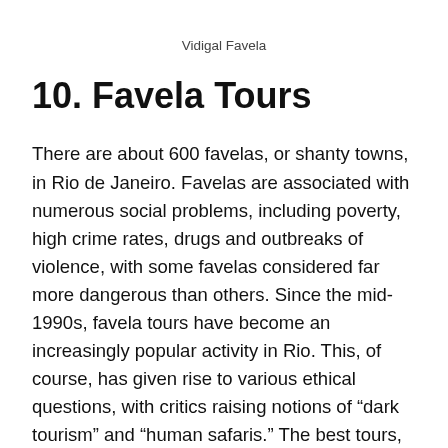Vidigal Favela
10. Favela Tours
There are about 600 favelas, or shanty towns, in Rio de Janeiro. Favelas are associated with numerous social problems, including poverty, high crime rates, drugs and outbreaks of violence, with some favelas considered far more dangerous than others. Since the mid-1990s, favela tours have become an increasingly popular activity in Rio. This, of course, has given rise to various ethical questions, with critics raising notions of “dark tourism” and “human safaris.” The best tours, however, are primarily focused in giving back to the disadvantaged communities via various social projects. So before choosing a favela tour, always